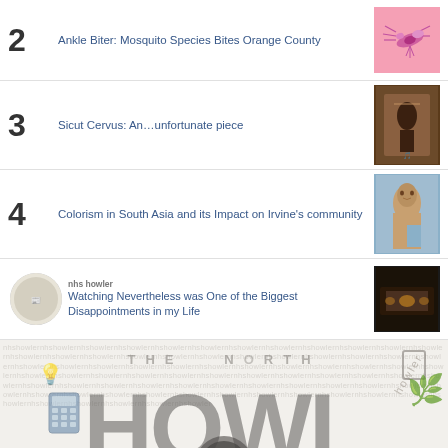2 Ankle Biter: Mosquito Species Bites Orange County
3 Sicut Cervus: An…unfortunate piece
4 Colorism in South Asia and its Impact on Irvine's community
5 Watching Nevertheless was One of the Biggest Disappointments in my Life
[Figure (logo): THE NORTH HOWLER logo with wolf mascot, school items decorations, and faint text background]